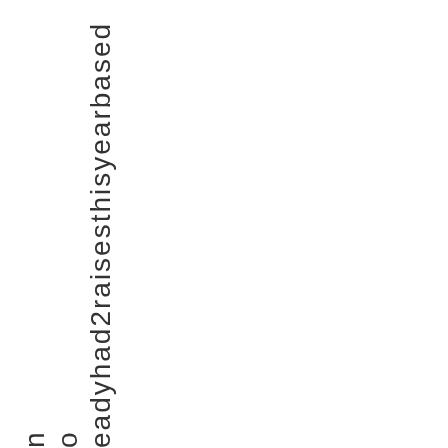eadyhad2raisesthisyearbased on